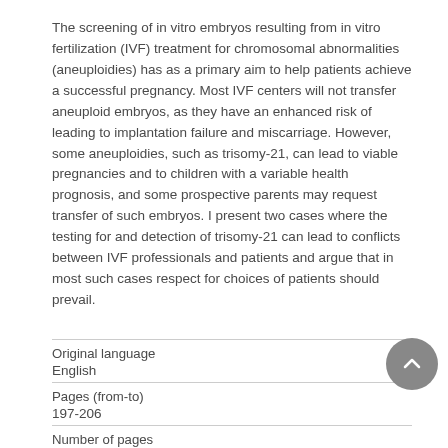The screening of in vitro embryos resulting from in vitro fertilization (IVF) treatment for chromosomal abnormalities (aneuploidies) has as a primary aim to help patients achieve a successful pregnancy. Most IVF centers will not transfer aneuploid embryos, as they have an enhanced risk of leading to implantation failure and miscarriage. However, some aneuploidies, such as trisomy-21, can lead to viable pregnancies and to children with a variable health prognosis, and some prospective parents may request transfer of such embryos. I present two cases where the testing for and detection of trisomy-21 can lead to conflicts between IVF professionals and patients and argue that in most such cases respect for choices of patients should prevail.
| Field | Value |
| --- | --- |
| Original language | English |
| Pages (from-to) | 197-206 |
| Number of pages |  |